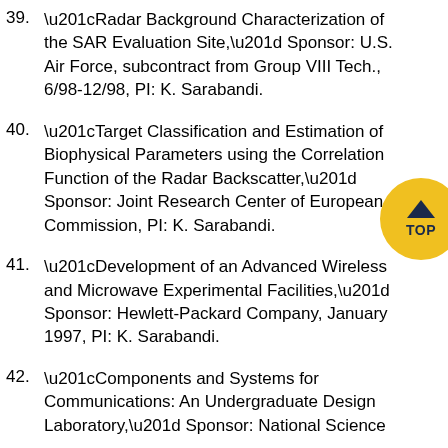39. “Radar Background Characterization of the SAR Evaluation Site,” Sponsor: U.S. Air Force, subcontract from Group VIII Tech., 6/98-12/98, PI: K. Sarabandi.
40. “Target Classification and Estimation of Biophysical Parameters using the Correlation Function of the Radar Backscatter,” Sponsor: Joint Research Center of European Commission, PI: K. Sarabandi.
41. “Development of an Advanced Wireless and Microwave Experimental Facilities,” Sponsor: Hewlett-Packard Company, January 1997, PI: K. Sarabandi.
42. “Components and Systems for Communications: An Undergraduate Design Laboratory,” Sponsor: National Science